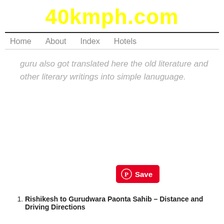40kmph.com
Home   About   Index   Hotels
guru also got translated here the old literature and other literary writings into simple lanuguage.
[Figure (other): Pinterest Save button with Pinterest logo icon]
Rishikesh to Gurudwara Paonta Sahib – Distance and Driving Directions